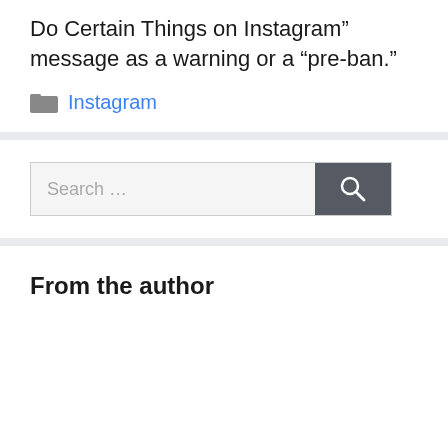Do Certain Things on Instagram” message as a warning or a “pre-ban.”
Instagram
[Figure (other): Search bar with text input placeholder 'Search ...' and a dark grey search button with magnifying glass icon]
From the author